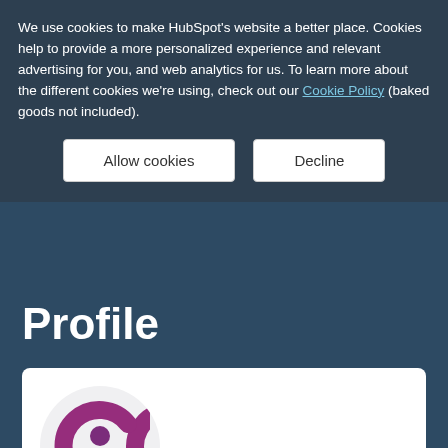We use cookies to make HubSpot's website a better place. Cookies help to provide a more personalized experience and relevant advertising for you, and web analytics for us. To learn more about the different cookies we're using, check out our Cookie Policy (baked goods not included).
Allow cookies
Decline
Profile
[Figure (logo): Concierge logo: a magenta/purple letter C shape with a person silhouette icon inside]
concierge
Member
Member since Nov 18, 2020
Message